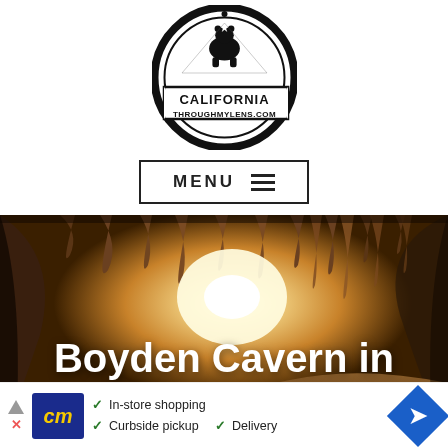[Figure (logo): California Through My Lens logo — circular badge with bear and mountain silhouette, text CALIFORNIA THROUGHMYLENS.COM]
[Figure (other): Menu button with hamburger icon, text MENU]
[Figure (photo): Interior of Boyden Cavern showing stalactites hanging from ceiling, warm golden-brown rock formations, bright light source visible in background]
Boyden Cavern in Kings Canyon National Park
[Figure (other): Advertisement banner: cm logo, In-store shopping, Curbside pickup, Delivery with navigation arrow]